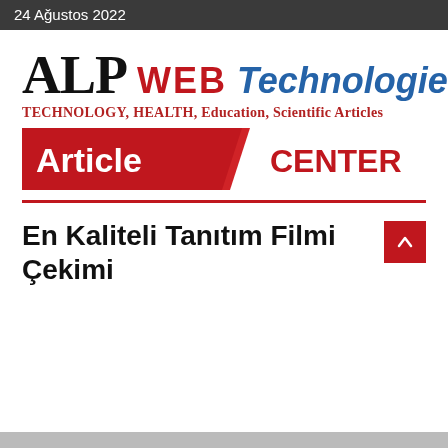24 Ağustos 2022
[Figure (logo): ALP WEB Technologies logo with tagline TECHNOLOGY, HEALTH, Education, Scientific Articles and Article CENTER banner]
En Kaliteli Tanıtım Filmi Çekimi